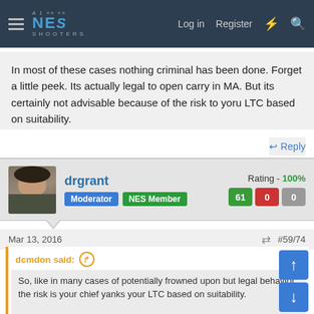NES Shooters - Log in Register
In most of these cases nothing criminal has been done. Forget a little peek. Its actually legal to open carry in MA. But its certainly not advisable because of the risk to yoru LTC based on suitability.
Reply
drgrant - Rating - 100% - Moderator - NES Member - 61 0 0
Mar 13, 2016 #59/74
dcmdon said: So, like in many cases of potentially frowned upon but legal behavior, the risk is your chief yanks your LTC based on suitability.

In most of these cases nothing criminal has been done. Forget a little peek. Its actually legal to open carry in MA. But its certainly not advisable because of the risk to yoru LTC based on suitability.